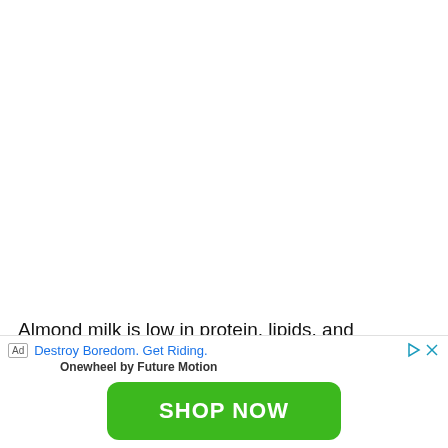Almond milk is low in protein, lipids, and nutrients
necessary for an infant's growth and development
[Figure (other): Advertisement banner: 'Destroy Boredom. Get Riding.' Onewheel by Future Motion with a green 'SHOP NOW' button]